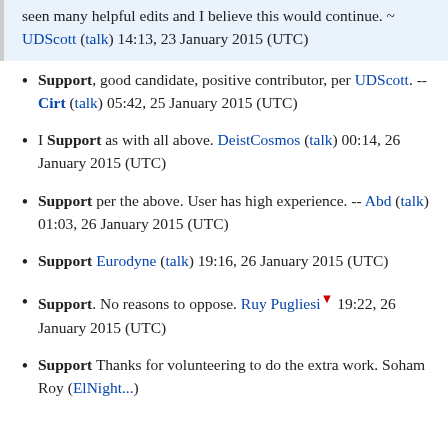seen many helpful edits and I believe this would continue. ~ UDScott (talk) 14:13, 23 January 2015 (UTC)
Support, good candidate, positive contributor, per UDScott. -- Cirt (talk) 05:42, 25 January 2015 (UTC)
I Support as with all above. DeistCosmos (talk) 00:14, 26 January 2015 (UTC)
Support per the above. User has high experience. -- Abd (talk) 01:03, 26 January 2015 (UTC)
Support Eurodyne (talk) 19:16, 26 January 2015 (UTC)
Support. No reasons to oppose. Ruy Pugliesi 19:22, 26 January 2015 (UTC)
Support Thanks for volunteering to do the extra work. Soham Roy (ElNight...) 09:40, 27 J...